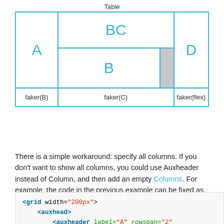[Figure (other): Diagram of a table layout showing cells labeled A, BC, B, D, faker(B), faker(C), faker(flex) with blue borders and a gray cell in the B row.]
There is a simple workaround: specify all columns. If you don't want to show all columns, you could use Auxheader instead of Column, and then add an empty Columns. For example, the code in the previous example can be fixed as follows:
<grid width="200px">
    <auxhead>
        <auxheader label="A" rowspan="2"